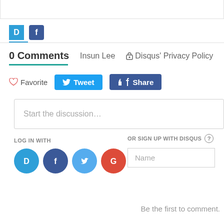[Figure (screenshot): Top white box border strip]
[Figure (screenshot): Tab row with Disqus D icon and Facebook f icon]
0 Comments   Insun Lee   Disqus' Privacy Policy
[Figure (screenshot): Action buttons: Favorite, Tweet, Share]
Start the discussion…
LOG IN WITH
[Figure (screenshot): Social login icons: Disqus, Facebook, Twitter, Google]
OR SIGN UP WITH DISQUS
Name
Be the first to comment.